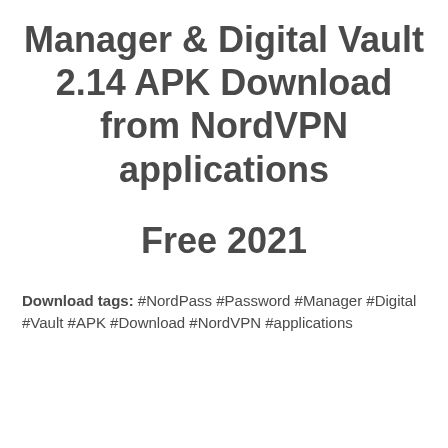Manager & Digital Vault 2.14 APK Download from NordVPN applications
Free 2021
Download tags: #NordPass #Password #Manager #Digital #Vault #APK #Download #NordVPN #applications